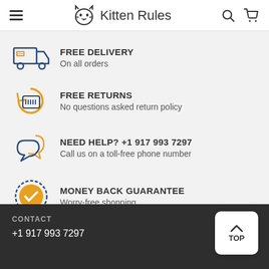Kitten Rules
FREE DELIVERY
On all orders
FREE RETURNS
No questions asked return policy
NEED HELP? +1 917 993 7297
Call us on a toll-free phone number
MONEY BACK GUARANTEE
Worry-free shopping
CONTACT
+1 917 993 7297